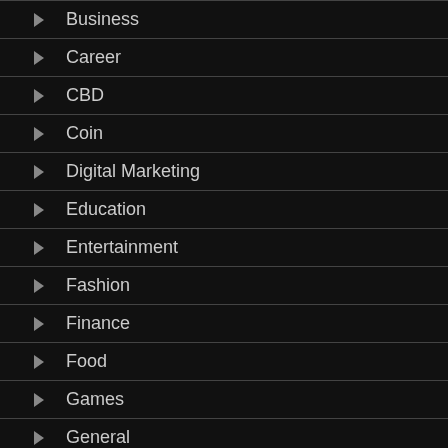Business
Career
CBD
Coin
Digital Marketing
Education
Entertainment
Fashion
Finance
Food
Games
General
Health